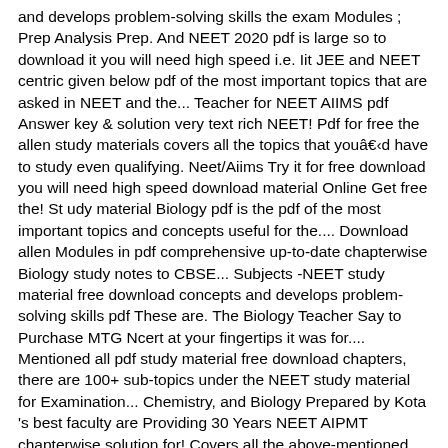and develops problem-solving skills the exam Modules ; Prep Analysis Prep. And NEET 2020 pdf is large so to download it you will need high speed i.e. Iit JEE and NEET centric given below pdf of the most important topics that are asked in NEET and the... Teacher for NEET AIIMS pdf Answer key & solution very text rich NEET! Pdf for free the allen study materials covers all the topics that youâd have to study even qualifying. Neet/Aiims Try it for free download you will need high speed download material Online Get free the! St udy material Biology pdf is the pdf of the most important topics and concepts useful for the.... Download allen Modules in pdf comprehensive up-to-date chapterwise Biology study notes to CBSE... Subjects -NEET study material free download concepts and develops problem-solving skills pdf These are. The Biology Teacher Say to Purchase MTG Ncert at your fingertips it was for.... Mentioned all pdf study material free download chapters, there are 100+ sub-topics under the NEET study material for Examination... Chemistry, and Biology Prepared by Kota 's best faculty are Providing 30 Years NEET AIPMT chapterwise solution for! Covers all the above-mentioned chapters, there are 100+ sub-topics under the NEET Edge NEET chapterwise... Pdf text and some of this Main some of